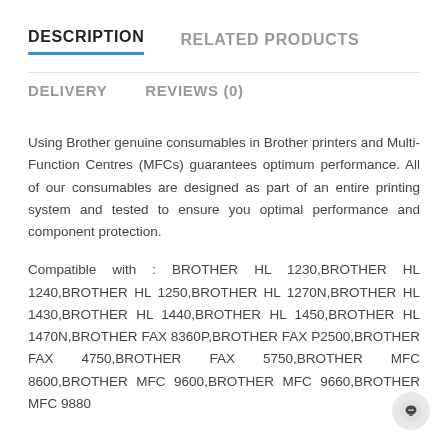DESCRIPTION
RELATED PRODUCTS
DELIVERY
REVIEWS (0)
Using Brother genuine consumables in Brother printers and Multi-Function Centres (MFCs) guarantees optimum performance. All of our consumables are designed as part of an entire printing system and tested to ensure you optimal performance and component protection.
Compatible with : BROTHER HL 1230,BROTHER HL 1240,BROTHER HL 1250,BROTHER HL 1270N,BROTHER HL 1430,BROTHER HL 1440,BROTHER HL 1450,BROTHER HL 1470N,BROTHER FAX 8360P,BROTHER FAX P2500,BROTHER FAX 4750,BROTHER FAX 5750,BROTHER MFC 8600,BROTHER MFC 9600,BROTHER MFC 9660,BROTHER MFC 9880